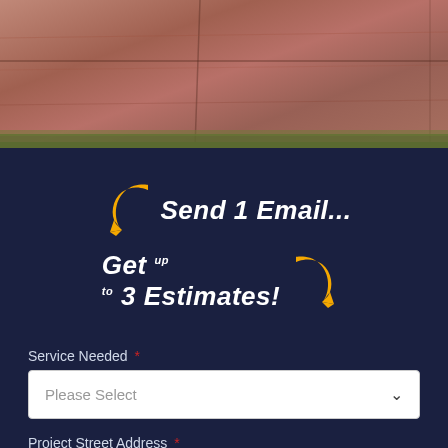[Figure (photo): A photo of reddish-brown concrete or paved surface with seams/cracks, with green grass visible at the bottom edge.]
[Figure (infographic): Dark navy background with yellow curved arrow pointing down-left and bold white italic text reading 'Send 1 Email...']
[Figure (infographic): Dark navy background with bold white italic text reading 'Get up to 3 Estimates!' with a yellow curved arrow on the right side.]
Service Needed *
Please Select
Project Street Address *